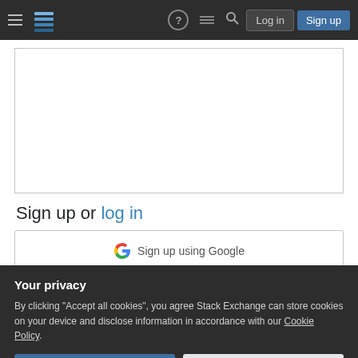Stack Exchange navigation bar with hamburger menu, logo, help, inbox, search, Log in, Sign up buttons
[Figure (screenshot): Empty text editor/input box with white background and light gray border]
Sign up or log in
[Figure (screenshot): Sign in with Google button showing Google G logo and text 'Sign up using Google']
Your privacy
By clicking "Accept all cookies", you agree Stack Exchange can store cookies on your device and disclose information in accordance with our Cookie Policy.
Accept all cookies    Customize settings
Post as a guest